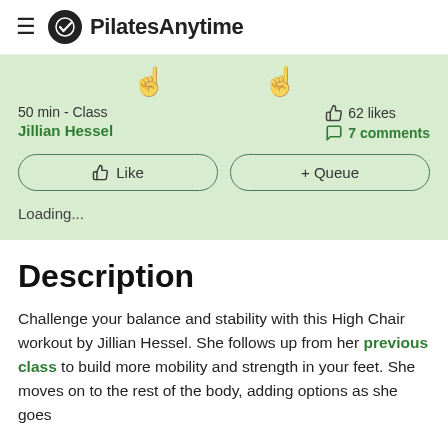PilatesAnytime
50 min - Class
Jillian Hessel
62 likes
7 comments
Like
+ Queue
Loading...
Description
Challenge your balance and stability with this High Chair workout by Jillian Hessel. She follows up from her previous class to build more mobility and strength in your feet. She moves on to the rest of the body, adding options as she goes